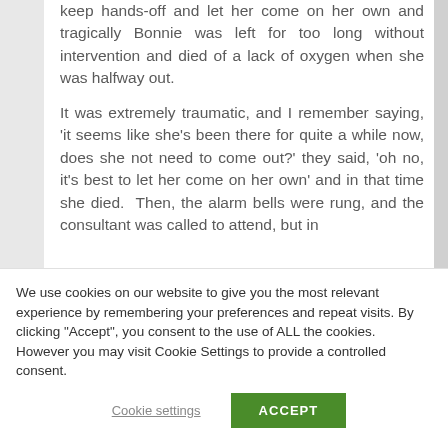keep hands-off and let her come on her own and tragically Bonnie was left for too long without intervention and died of a lack of oxygen when she was halfway out.
It was extremely traumatic, and I remember saying, 'it seems like she's been there for quite a while now, does she not need to come out?' they said, 'oh no, it's best to let her come on her own' and in that time she died. Then, the alarm bells were rung, and the consultant was called to attend, but in
We use cookies on our website to give you the most relevant experience by remembering your preferences and repeat visits. By clicking "Accept", you consent to the use of ALL the cookies. However you may visit Cookie Settings to provide a controlled consent.